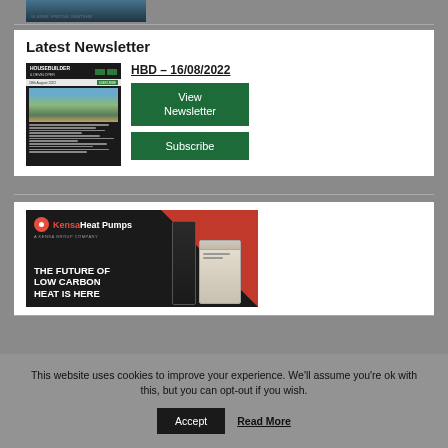[Figure (screenshot): Partial view of a magazine cover image with text 'SLASHE SPECIAL HEATSHE' visible]
Latest Newsletter
[Figure (screenshot): Thumbnail of Housebuilder & Developer newsletter dated 18th August 2022]
HBD – 16/08/2022
View Newsletter
Subscribe
[Figure (advertisement): Kensa Heat Pumps advertisement: 'THE FUTURE OF LOW CARBON HEAT IS HERE' with heat pump unit images]
This website uses cookies to improve your experience. We'll assume you're ok with this, but you can opt-out if you wish.
Accept
Read More